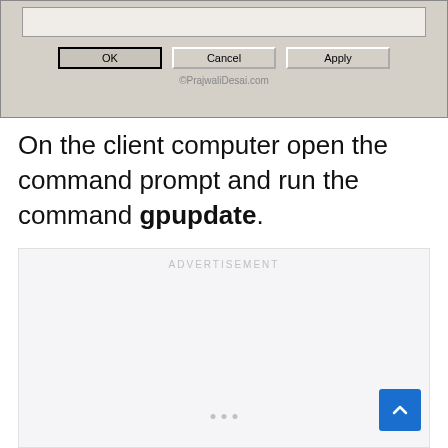[Figure (screenshot): Bottom portion of a Windows dialog box showing a white input area, OK, Cancel, and Apply buttons, with watermark ©PrajwaliDesai.com]
On the client computer open the command prompt and run the command gpupdate.
[Figure (other): Advertisement placeholder box with ADVERTISEMENT label and three dots at bottom, and a blue scroll-to-top button in bottom-right corner]